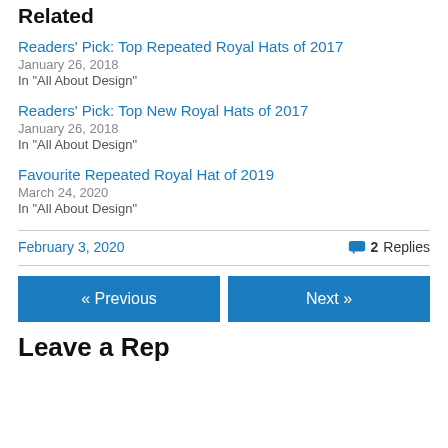Related
Readers' Pick: Top Repeated Royal Hats of 2017
January 26, 2018
In "All About Design"
Readers' Pick: Top New Royal Hats of 2017
January 26, 2018
In "All About Design"
Favourite Repeated Royal Hat of 2019
March 24, 2020
In "All About Design"
February 3, 2020    2 Replies
« Previous    Next »
Leave a Reply